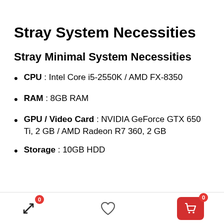Stray System Necessities
Stray Minimal System Necessities
CPU : Intel Core i5-2550K / AMD FX-8350
RAM : 8GB RAM
GPU / Video Card : NVIDIA GeForce GTX 650 Ti, 2 GB / AMD Radeon R7 360, 2 GB
Storage : 10GB HDD